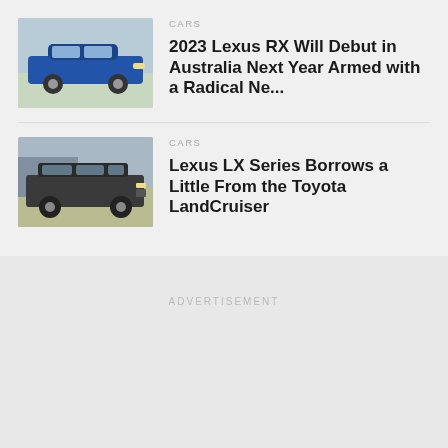[Figure (photo): Blue Lexus RX SUV on a paved surface with grass in background]
CARS
2023 Lexus RX Will Debut in Australia Next Year Armed with a Radical Ne...
[Figure (photo): Dark Lexus LX Series SUV parked in a grassy field near coastal cliffs]
CARS
Lexus LX Series Borrows a Little From the Toyota LandCruiser
ADVERTISEMENT